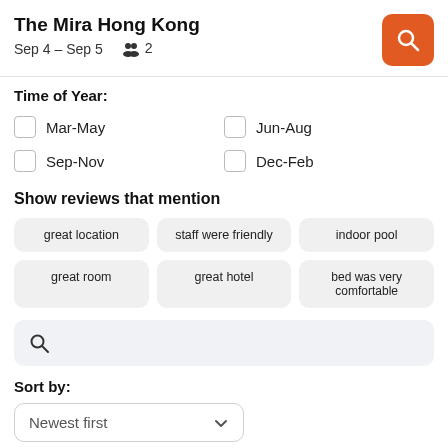The Mira Hong Kong
Sep 4 – Sep 5   👥 2
Time of Year:
Mar-May
Jun-Aug
Sep-Nov
Dec-Feb
Show reviews that mention
great location
staff were friendly
indoor pool
great room
great hotel
bed was very comfortable
Sort by:
Newest first